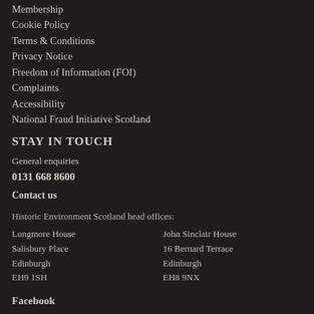Membership
Cookie Policy
Terms & Conditions
Privacy Notice
Freedom of Information (FOI)
Complaints
Accessibility
National Fraud Initiative Scotland
STAY IN TOUCH
General enquiries
0131 668 8600
Contact us
Historic Environment Scotland head offices:
Longmore House
Salisbury Place
Edinburgh
EH9 1SH
John Sinclair House
16 Bernard Terrace
Edinburgh
EH8 9NX
Facebook